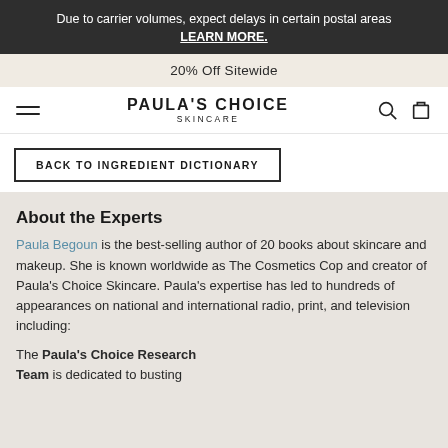Due to carrier volumes, expect delays in certain postal areas
LEARN MORE.
20% Off Sitewide
PAULA'S CHOICE SKINCARE
BACK TO INGREDIENT DICTIONARY
About the Experts
Paula Begoun is the best-selling author of 20 books about skincare and makeup. She is known worldwide as The Cosmetics Cop and creator of Paula's Choice Skincare. Paula's expertise has led to hundreds of appearances on national and international radio, print, and television including:
The Paula's Choice Research Team is dedicated to busting